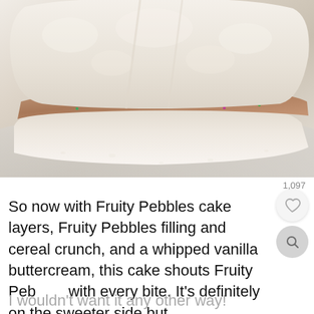[Figure (photo): Close-up photo of sliced cake with colorful Fruity Pebbles cereal filling between white cake layers, served on a light gray plate]
1,097
So now with Fruity Pebbles cake layers, Fruity Pebbles filling and cereal crunch, and a whipped vanilla buttercream, this cake shouts Fruity Pebbles with every bite. It's definitely on the sweeter side but
I wouldn't want it any other way!